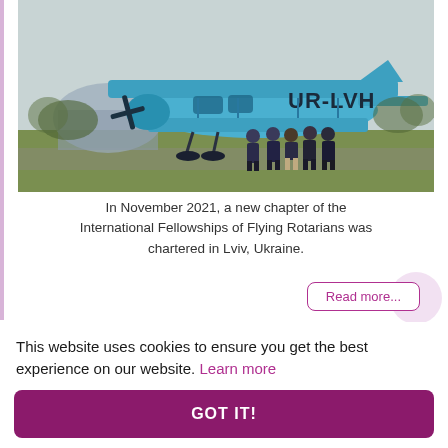[Figure (photo): A large blue biplane with registration UR-LVH parked on grass at an airfield. A group of people in dark jackets stand near the aircraft. Overcast sky, with a hangar visible in the background.]
In November 2021, a new chapter of the International Fellowships of Flying Rotarians was chartered in Lviv, Ukraine.
Read more...
This website uses cookies to ensure you get the best experience on our website. Learn more
GOT IT!